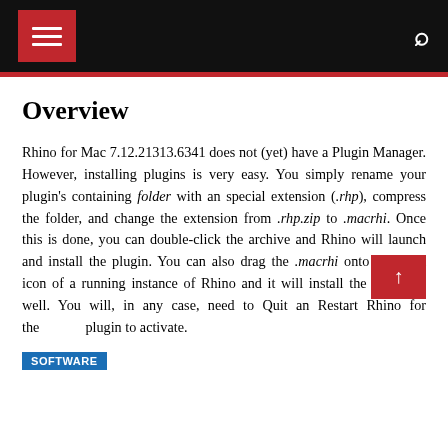Navigation header with hamburger menu and search icon
Overview
Rhino for Mac 7.12.21313.6341 does not (yet) have a Plugin Manager. However, installing plugins is very easy. You simply rename your plugin’s containing folder with an special extension (.rhp), compress the folder, and change the extension from .rhp.zip to .macrhi. Once this is done, you can double-click the archive and Rhino will launch and install the plugin. You can also drag the .macrhi onto the dock icon of a running instance of Rhino and it will install the plugin as well. You will, in any case, need to Quit an Restart Rhino for the plugin to activate.
SOFTWARE